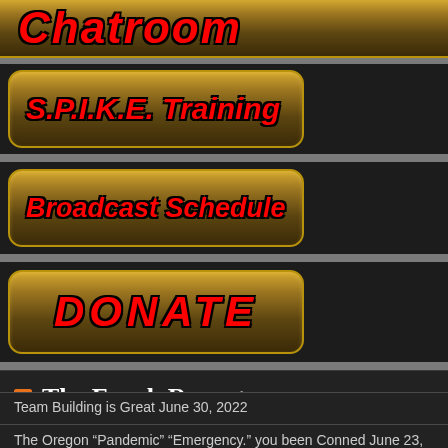[Figure (screenshot): Chatroom navigation button with gold gradient background and red italic text reading 'Chatroom']
[Figure (screenshot): S.P.I.K.E. Training navigation button with gold gradient background and red italic text]
[Figure (screenshot): Broadcast Schedule navigation button with gold gradient background and red italic text]
[Figure (screenshot): DONATE navigation button with gold gradient background and large red italic text]
The Frank Report
Team Building is Great June 30, 2022
The Oregon “Pandemic” “Emergency.” you been Conned June 23, 2022